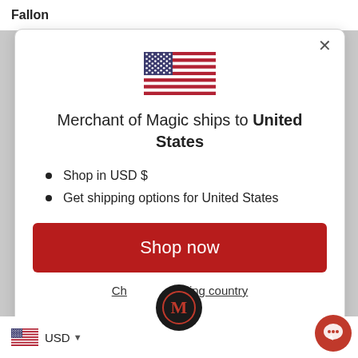Fallon
[Figure (illustration): US flag emoji/icon centered in modal dialog]
Merchant of Magic ships to United States
Shop in USD $
Get shipping options for United States
Shop now
Change shipping country
USD